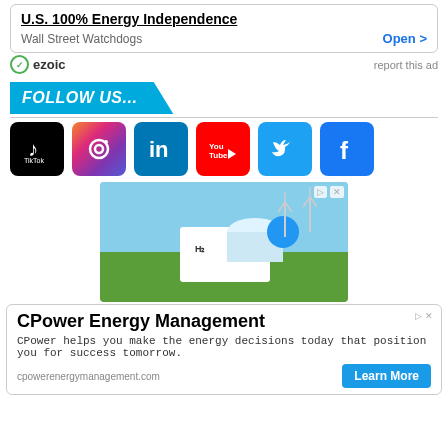[Figure (screenshot): Advertisement: U.S. 100% Energy Independence from Wall Street Watchdogs with Open button]
ezoic   report this ad
FOLLOW US...
[Figure (illustration): Row of social media icons: TikTok, Instagram, LinkedIn, YouTube, Twitter, Facebook]
[Figure (photo): Advertisement image of a hydrogen energy facility with wind turbines]
[Figure (screenshot): Advertisement: CPower Energy Management - CPower helps you make the energy decisions today that position you for success tomorrow. cpowerenergymanagement.com with Learn More button]